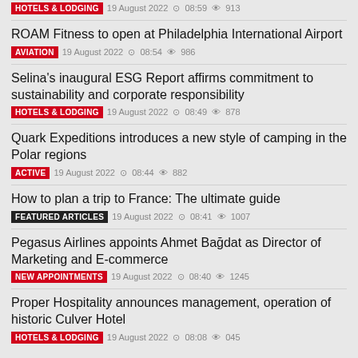HOTELS & LODGING  19 August 2022  08:59  913
ROAM Fitness to open at Philadelphia International Airport
AVIATION  19 August 2022  08:54  986
Selina's inaugural ESG Report affirms commitment to sustainability and corporate responsibility
HOTELS & LODGING  19 August 2022  08:49  878
Quark Expeditions introduces a new style of camping in the Polar regions
ACTIVE  19 August 2022  08:44  882
How to plan a trip to France: The ultimate guide
FEATURED ARTICLES  19 August 2022  08:41  1007
Pegasus Airlines appoints Ahmet Bağdat as Director of Marketing and E-commerce
NEW APPOINTMENTS  19 August 2022  08:40  1245
Proper Hospitality announces management, operation of historic Culver Hotel
HOTELS & LODGING  19 August 2022  08:08  045